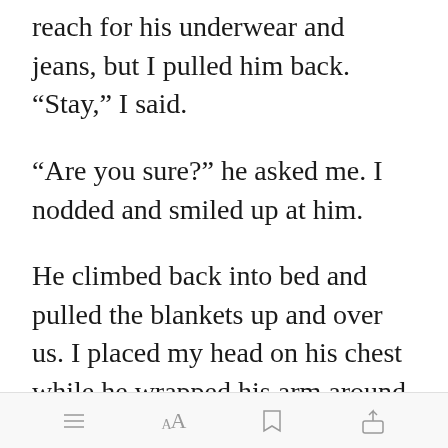reach for his underwear and jeans, but I pulled him back. “Stay,” I said.
“Are you sure?” he asked me. I nodded and smiled up at him.
He climbed back into bed and pulled the blankets up and over us. I placed my head on his chest while he wrapped his arm around me and we fell asleep.
[Figure (screenshot): Mobile app toolbar with menu, font size (Aa), bookmark, and share icons]